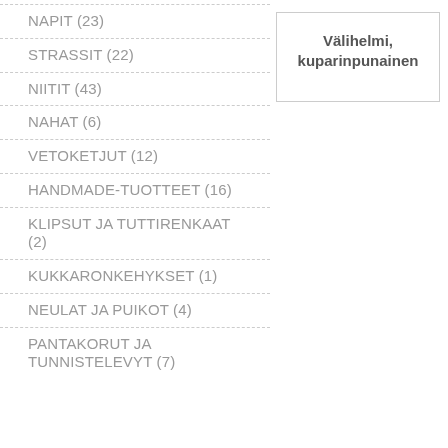NAPIT (23)
STRASSIT (22)
NIITIT (43)
NAHAT (6)
VETOKETJUT (12)
HANDMADE-TUOTTEET (16)
KLIPSUT JA TUTTIRENKAAT (2)
KUKKARONKEHYKSET (1)
NEULAT JA PUIKOT (4)
PANTAKORUT JA TUNNISTELEVYT (7)
Välihelmi, kuparinpunainen